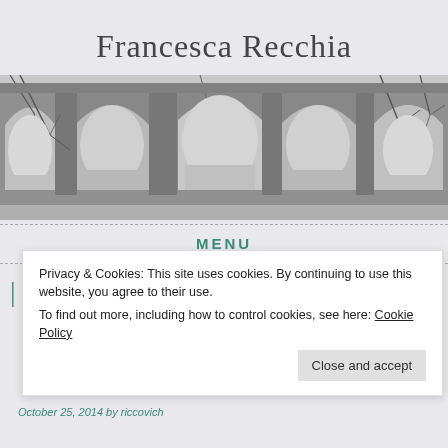Francesca Recchia
[Figure (photo): Black and white photograph of ancient Roman arched ruins with bare tree branches visible through the arches, set against a light sky]
MENU
Privacy & Cookies: This site uses cookies. By continuing to use this website, you agree to their use.
To find out more, including how to control cookies, see here: Cookie Policy
Close and accept
October 25, 2014 by riccovich